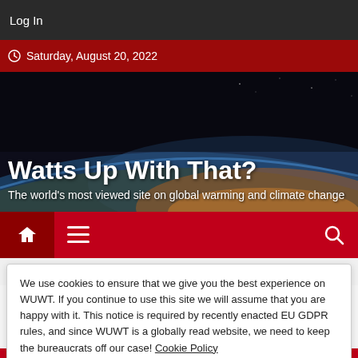Log In
Saturday, August 20, 2022
Watts Up With That?
The world's most viewed site on global warming and climate change
Home / BB59D013-D097-4999-A721-D09599926E59
We use cookies to ensure that we give you the best experience on WUWT. If you continue to use this site we will assume that you are happy with it. This notice is required by recently enacted EU GDPR rules, and since WUWT is a globally read website, we need to keep the bureaucrats off our case! Cookie Policy
Close and accept